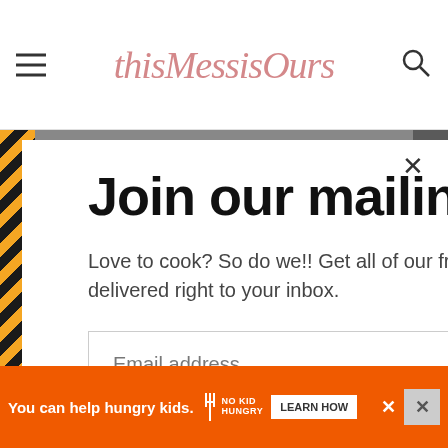thisMessisOurs — navigation header with hamburger menu and search icon
Join our mailing list.
Love to cook? So do we!! Get all of our fresh recipes delivered right to your inbox.
Email address
Subscribe
You can help hungry kids. NO KID HUNGRY LEARN HOW